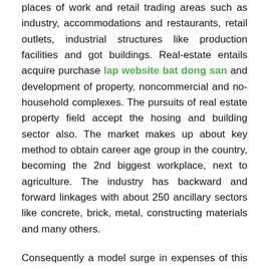places of work and retail trading areas such as industry, accommodations and restaurants, retail outlets, industrial structures like production facilities and got buildings. Real-estate entails acquire purchase lap website bat dong san and development of property, noncommercial and no-household complexes. The pursuits of real estate property field accept the hosing and building sector also. The market makes up about key method to obtain career age group in the country, becoming the 2nd biggest workplace, next to agriculture. The industry has backward and forward linkages with about 250 ancillary sectors like concrete, brick, metal, constructing materials and many others.
Consequently a model surge in expenses of this sector has multiplier effect and capacity to generate earnings as much as five times. In actual real estate field key element consists of housing which accounts for 80Per cent and it is expanding in the amount of 35Per cent. Remainder contains commercial